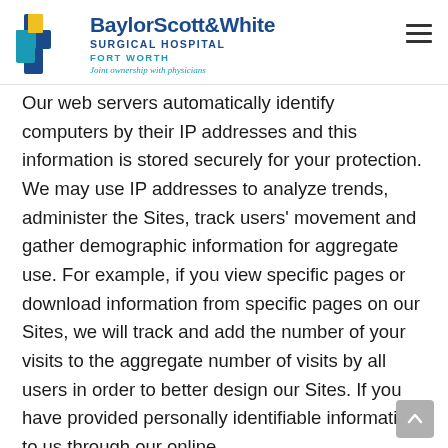BaylorScott&White SURGICAL HOSPITAL FORT WORTH — Joint ownership with physicians
Our web servers automatically identify computers by their IP addresses and this information is stored securely for your protection.  We may use IP addresses to analyze trends, administer the Sites, track users' movement and gather demographic information for aggregate use.  For example, if you view specific pages or download information from specific pages on our Sites, we will track and add the number of your visits to the aggregate number of visits by all users in order to better design our Sites. If you have provided personally identifiable information to us through our online